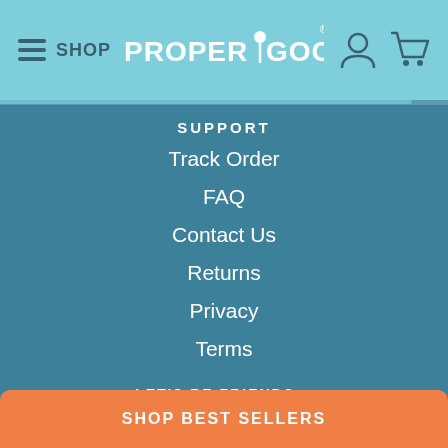SHOP | PROPER GOOD
SUPPORT
Track Order
FAQ
Contact Us
Returns
Privacy
Terms
LET'S BE FRIENDS...
Sign up for Proper Good updates and 10% off!
SHOP BEST SELLERS